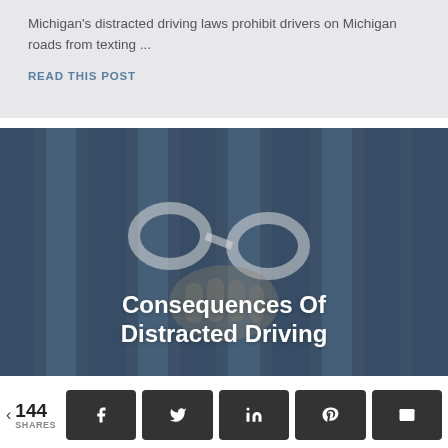Michigan's distracted driving laws prohibit drivers on Michigan roads from texting ...
READ THIS POST
[Figure (photo): Photo of handcuffs with overlaid text 'Consequences Of Distracted Driving' on a dark blue-toned background with vertical bar shadows]
144 SHARES
Social share buttons: Facebook, Twitter, LinkedIn, Pinterest, Email